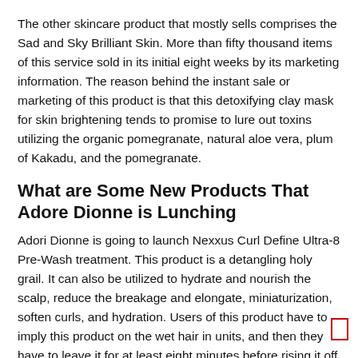The other skincare product that mostly sells comprises the Sad and Sky Brilliant Skin. More than fifty thousand items of this service sold in its initial eight weeks by its marketing information. The reason behind the instant sale or marketing of this product is that this detoxifying clay mask for skin brightening tends to promise to lure out toxins utilizing the organic pomegranate, natural aloe vera, plum of Kakadu, and the pomegranate.
What are Some New Products That Adore Dionne is Lunching
Adori Dionne is going to launch Nexxus Curl Define Ultra-8 Pre-Wash treatment. This product is a detangling holy grail. It can also be utilized to hydrate and nourish the scalp, reduce the breakage and elongate, miniaturization, soften curls, and hydration. Users of this product have to imply this product on the wet hair in units, and then they have to leave it for at least eight minutes before rising it off and going into the usual routine.